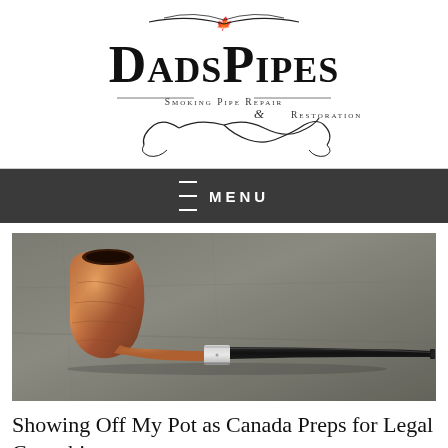[Figure (logo): DadsPipes — Smoking Pipe Repair & Restoration logo with decorative script and flourishes]
≡ MENU
[Figure (photo): A smooth briar smoking pipe with a wooden bowl and black stem with silver band, resting on a dark stone surface]
Showing Off My Pot as Canada Preps for Legal Cannabis